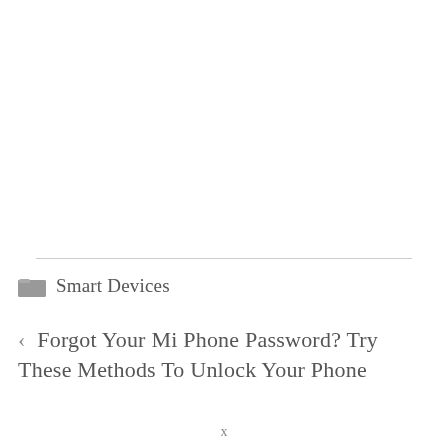Smart Devices
< Forgot Your Mi Phone Password? Try These Methods To Unlock Your Phone